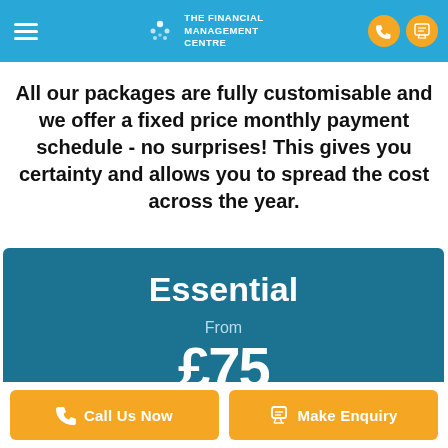[Figure (logo): The Financial Management Centre logo with blue background, hamburger menu, circular dot logo icon, white text, and orange phone/enquiry icon buttons]
All our packages are fully customisable and we offer a fixed price monthly payment schedule - no surprises! This gives you certainty and allows you to spread the cost across the year.
Essential
From
£75
Call Us Now
Make Enquiry